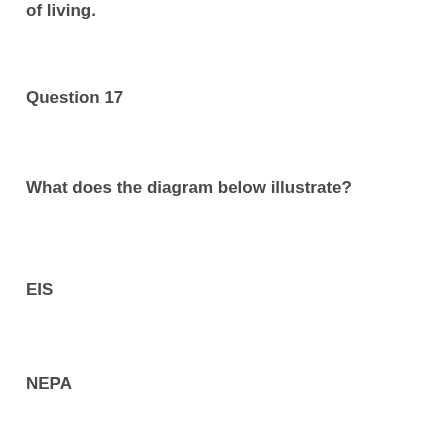of living.
Question 17
What does the diagram below illustrate?
EIS
NEPA